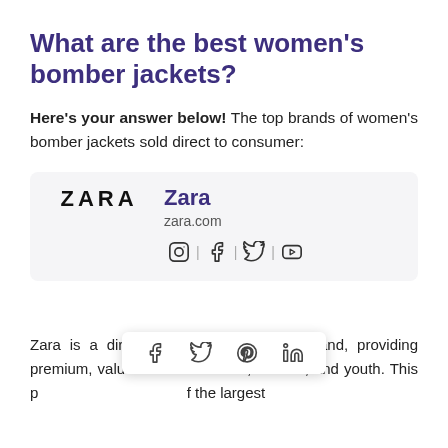What are the best women's bomber jackets?
Here's your answer below! The top brands of women's bomber jackets sold direct to consumer:
[Figure (logo): Zara brand logo and info card with brand name 'Zara', website 'zara.com', and social media icons for Instagram, Facebook, Twitter, and YouTube]
Zara is a direct to consumer fashion brand, providing premium, value clothing for men, women, and youth. This popular brand was one of the largest